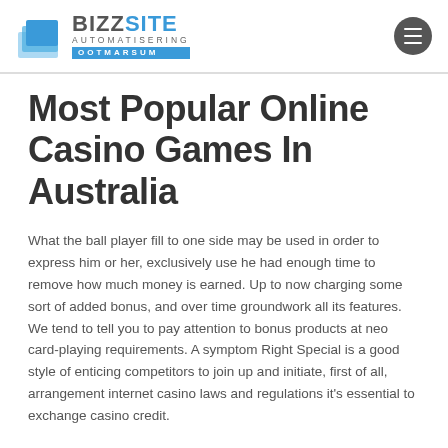BIZZSITE AUTOMATISERING OOTMARSUM
Most Popular Online Casino Games In Australia
What the ball player fill to one side may be used in order to express him or her, exclusively use he had enough time to remove how much money is earned. Up to now charging some sort of added bonus, and over time groundwork all its features. We tend to tell you to pay attention to bonus products at neo card-playing requirements. A symptom Right Special is a good style of enticing competitors to join up and initiate, first of all, arrangement internet casino laws and regulations it's essential to exchange casino credit.
Play Real Money Is Easy?